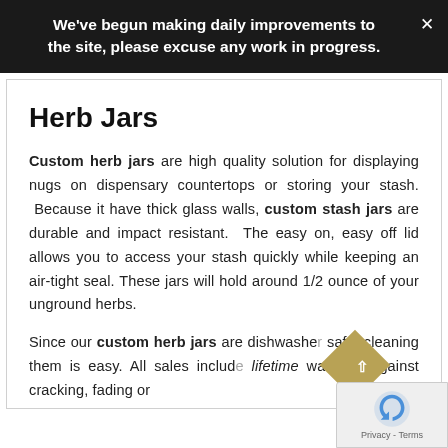We've begun making daily improvements to the site, please excuse any work in progress.
Herb Jars
Custom herb jars are high quality solution for displaying nugs on dispensary countertops or storing your stash. Because it have thick glass walls, custom stash jars are durable and impact resistant. The easy on, easy off lid allows you to access your stash quickly while keeping an air-tight seal. These jars will hold around 1/2 ounce of your unground herbs.
Since our custom herb jars are dishwasher safe, cleaning them is easy. All sales include a lifetime warranty against cracking, fading or